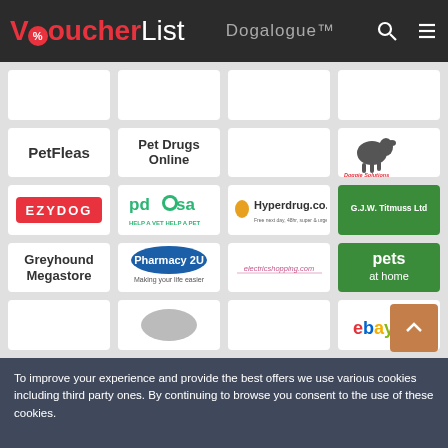VoucherList | Dogalogue
[Figure (logo): PetFleas logo - bold black text]
[Figure (logo): Pet Drugs Online logo - bold black text]
[Figure (logo): Empty white cell]
[Figure (logo): Doggie Solutions logo with dog silhouette]
[Figure (logo): EzyDog logo - red rectangle with white text]
[Figure (logo): PDSA - Help a Vet Help a Pet logo]
[Figure (logo): Hyperdrug.co.uk logo]
[Figure (logo): G.J.W. Titmuss Ltd - green background white text]
[Figure (logo): Greyhound Megastore text logo]
[Figure (logo): Pharmacy 2U - Making your life easier logo]
[Figure (logo): electricshopping.com logo]
[Figure (logo): Pets at Home - green background white text]
[Figure (logo): Partially visible logo row 5 col 1]
[Figure (logo): Partially visible logo row 5 col 2]
[Figure (logo): Partially visible logo row 5 col 3]
[Figure (logo): Partially visible ebay-style logo row 5 col 4]
To improve your experience and provide the best offers we use various cookies including third party ones. By continuing to browse you consent to the use of these cookies.